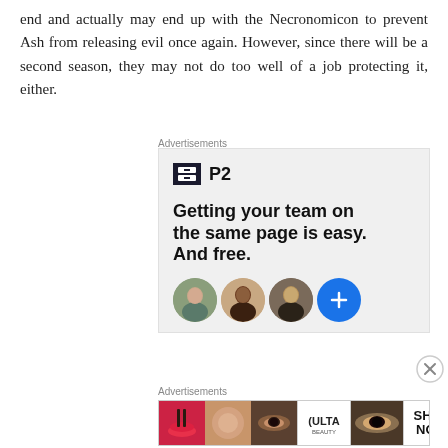end and actually may end up with the Necronomicon to prevent Ash from releasing evil once again. However, since there will be a second season, they may not do too well of a job protecting it, either.
[Figure (infographic): P2 advertisement: logo with dark square icon and 'P2' text, headline 'Getting your team on the same page is easy. And free.', three person avatar circles and a blue plus circle button]
[Figure (infographic): Ulta Beauty advertisement banner with makeup and eye images and 'SHOP NOW' text]